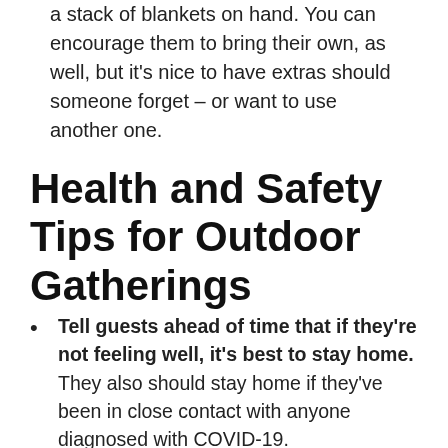a stack of blankets on hand. You can encourage them to bring their own, as well, but it's nice to have extras should someone forget – or want to use another one.
Health and Safety Tips for Outdoor Gatherings
Tell guests ahead of time that if they're not feeling well, it's best to stay home. They also should stay home if they've been in close contact with anyone diagnosed with COVID-19.
Sanitize high-touch surfaces. Keep sanitizing wipes or spray handy for doorknobs, light switches,